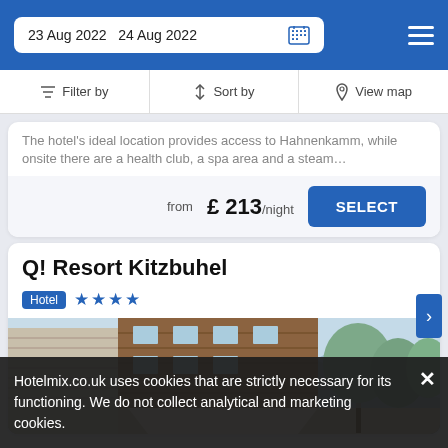23 Aug 2022  24 Aug 2022
Filter by   Sort by   View map
The hotel's ideal location provides access to Hahnenkamm, while onsite there are a health club, a spa area and a steam…
from £ 213/night
Q! Resort Kitzbuhel
Hotel ★★★★
[Figure (photo): Exterior photo of Q! Resort Kitzbuhel showing a wooden building with outdoor terrace, trees, and mountain backdrop]
Hotelmix.co.uk uses cookies that are strictly necessary for its functioning. We do not collect analytical and marketing cookies.